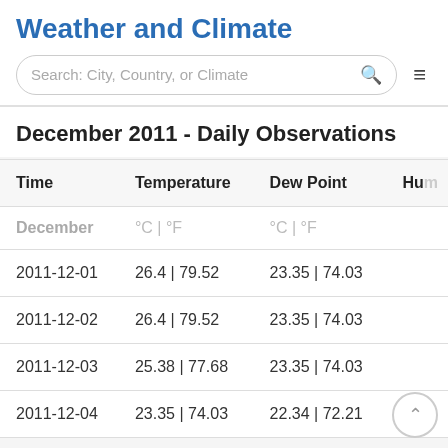Weather and Climate
Search: City, Country, or Climate
December 2011 - Daily Observations
| Time | Temperature | Dew Point | Hum |
| --- | --- | --- | --- |
| December | °C | °F | °C | °F |  |
| 2011-12-01 | 26.4 | 79.52 | 23.35 | 74.03 |  |
| 2011-12-02 | 26.4 | 79.52 | 23.35 | 74.03 |  |
| 2011-12-03 | 25.38 | 77.68 | 23.35 | 74.03 |  |
| 2011-12-04 | 23.35 | 74.03 | 22.34 | 72.21 |  |